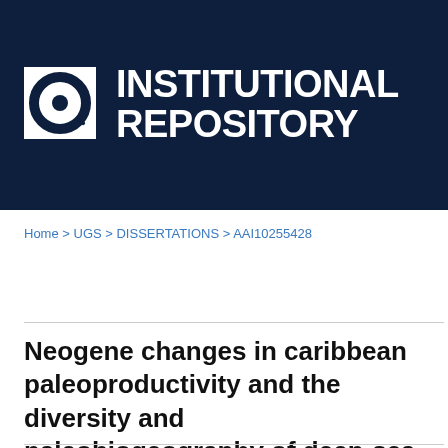[Figure (logo): Institutional Repository logo with dark navy background, circular magnifying glass icon on left, and bold white text reading INSTITUTIONAL REPOSITORY]
Home > UGS > DISSERTATIONS > AAI10255428
Neogene changes in caribbean paleoproductivity and the diversity and paleobiogeography of deep-sea benthic foraminifera